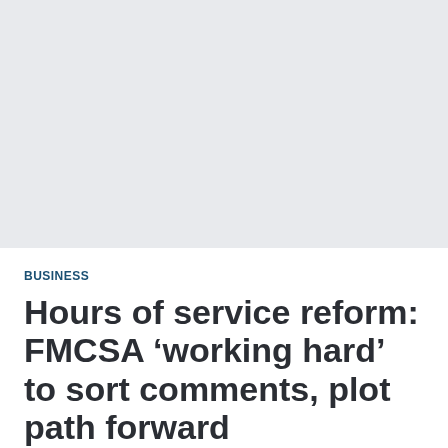[Figure (photo): Large gray placeholder image occupying the top portion of the page]
BUSINESS
Hours of service reform: FMCSA ‘working hard’ to sort comments, plot path forward